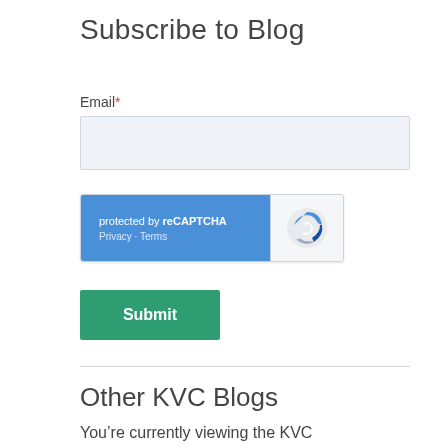Subscribe to Blog
Email*
[Figure (screenshot): Empty email input field with light blue-gray background]
[Figure (screenshot): reCAPTCHA widget: blue section with 'protected by reCAPTCHA' text and Privacy - Terms links, gray section with reCAPTCHA logo]
[Figure (screenshot): Green Submit button]
Other KVC Blogs
You’re currently viewing the KVC